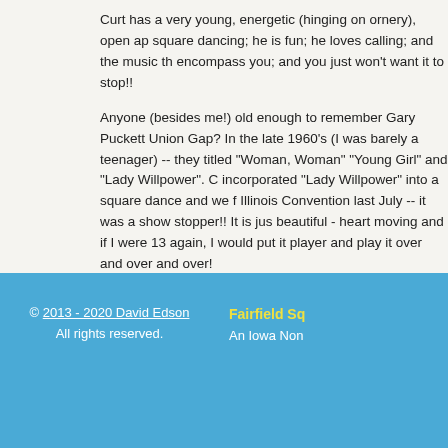Curt has a very young, energetic (hinging on ornery), open ap square dancing; he is fun; he loves calling; and the music th encompass you; and you just won't want it to stop!!
Anyone (besides me!) old enough to remember Gary Puckett Union Gap? In the late 1960's (I was barely a teenager) -- they titled "Woman, Woman" "Young Girl" and "Lady Willpower". C incorporated "Lady Willpower" into a square dance and we f Illinois Convention last July -- it was a show stopper!! It is jus beautiful - heart moving and if I were 13 again, I would put it player and play it over and over and over!
So come to the dance - and we'll request that he do it (at leas over and over and over!) See you there! ~ JR
© 2013 - 2020 David Edson All rights reserved. Fairfield Sq An Iowa Non